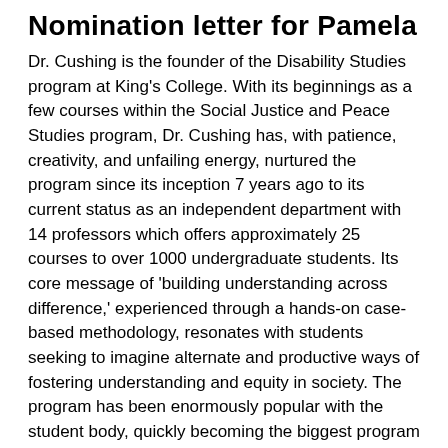Nomination letter for Pamela
Dr. Cushing is the founder of the Disability Studies program at King's College. With its beginnings as a few courses within the Social Justice and Peace Studies program, Dr. Cushing has, with patience, creativity, and unfailing energy, nurtured the program since its inception 7 years ago to its current status as an independent department with 14 professors which offers approximately 25 courses to over 1000 undergraduate students. Its core message of ‘building understanding across difference,’ experienced through a hands-on case-based methodology, resonates with students seeking to imagine alternate and productive ways of fostering understanding and equity in society. The program has been enormously popular with the student body, quickly becoming the biggest program within the broader Department of Interdisciplinary Studies at King’s College.